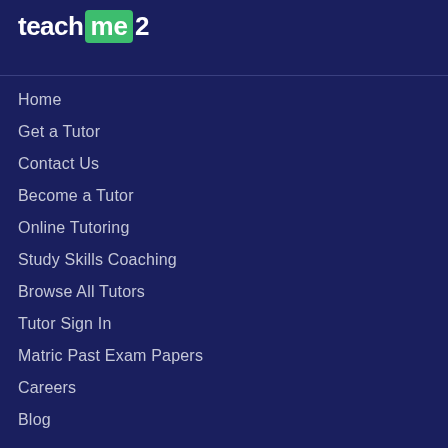teachme2
Home
Get a Tutor
Contact Us
Become a Tutor
Online Tutoring
Study Skills Coaching
Browse All Tutors
Tutor Sign In
Matric Past Exam Papers
Careers
Blog
[Figure (illustration): Facebook and Twitter social media icon circles]